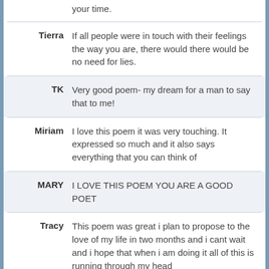your time.
Tierra: If all people were in touch with their feelings the way you are, there would there would be no need for lies.
TK: Very good poem- my dream for a man to say that to me!
Miriam: I love this poem it was very touching. It expressed so much and it also says everything that you can think of
MARY: I LOVE THIS POEM YOU ARE A GOOD POET
Tracy: This poem was great i plan to propose to the love of my life in two months and i cant wait and i hope that when i am doing it all of this is running through my head